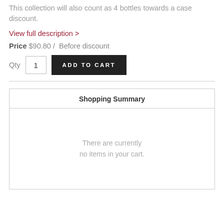This collection will also count as 4 bottles towards a case discount.
View full description >
Price $90.80 / Before discount
Qty  1  ADD TO CART
| Shopping Summary |
| --- |
| There are currently no items in your cart. |